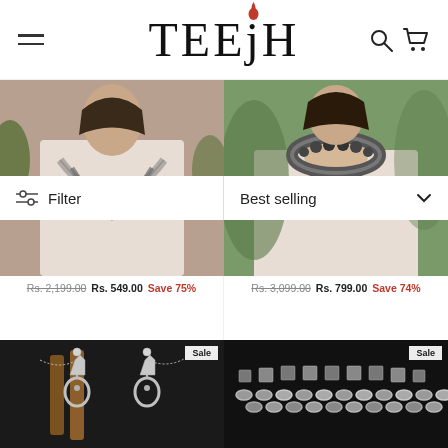TEEJH
Filter
Best selling
[Figure (photo): Model wearing Teejh Nivriti Antique Silver Polish Long Necklace]
TEEJH NIVRITI ANTIQUE SILVER POLISH LONG NECKLACE
Rs. 2,199.00  Rs. 549.00  Save 75%
[Figure (photo): Model wearing Teejh Shrika Antique Silver Polish Choker Necklace]
TEEJH SHRIKA ANTIQUE SILVER POLISH CHOKER NECKLACE
Rs. 3,099.00  Rs. 799.00  Save 74%
[Figure (photo): Silver earrings/jewelry product on dark background, Sale badge]
[Figure (photo): Silver chain/necklace jewelry on dark background, Sale badge]